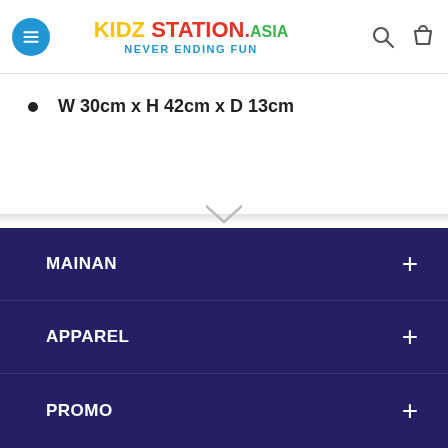KIDZ STATION.ASIA — NEVER ENDING FUN
W 30cm x H 42cm x D 13cm
MAINAN
APPAREL
PROMO